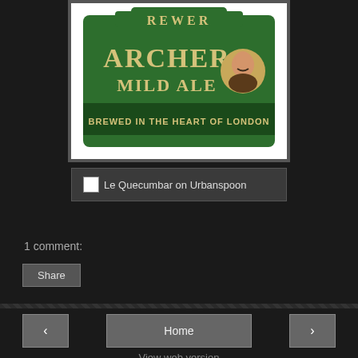[Figure (illustration): Beer label for Archer Mild Ale - green label with text ARCHER MILD ALE BREWED IN THE HEART OF LONDON and a portrait of a man, shown against white background with dark border]
[Figure (screenshot): Le Quecumbar on Urbanspoon - a link box with small icon and text on dark grey background]
1 comment:
Share
Home
View web version
About Me